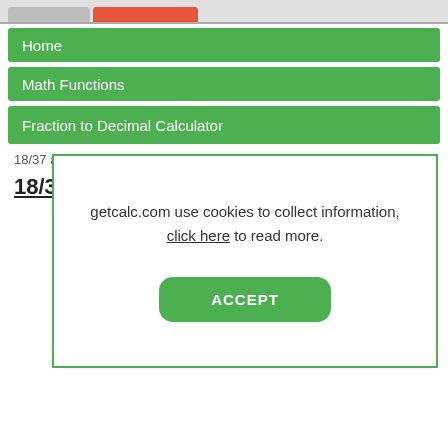Home
Math Functions
Fraction to Decimal Calculator
18/37 as a decimal
18/3
getcalc.com use cookies to collect information, click here to read more.
ACCEPT